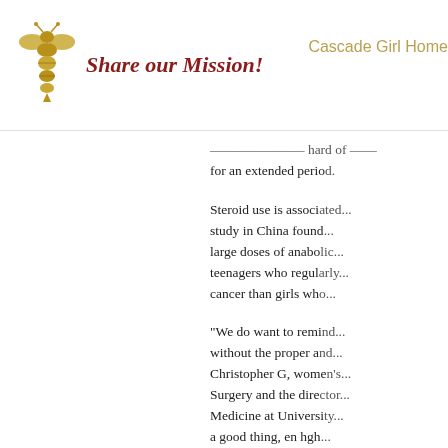Share our Mission! — Cascade Girl Home
...differently hard of... for an extended period.
Steroid use is associated... study in China found... large doses of anabolic... teenagers who regularly... cancer than girls who...
"We do want to remind... without the proper and... Christopher G, women's... Surgery and the director... Medicine at University... a good thing, en hgh...